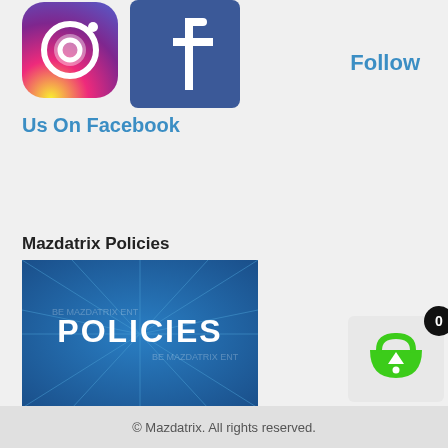[Figure (logo): Instagram logo icon — rounded square gradient pink/orange/purple with camera icon]
[Figure (logo): Facebook logo icon — blue square with white 'f' letter]
Follow
Us On Facebook
Mazdatrix Policies
[Figure (illustration): Blue textured background image with bold white text 'POLICIES' and faint watermark text]
[Figure (illustration): Shopping cart icon in green with a black badge showing '0']
© Mazdatrix. All rights reserved.